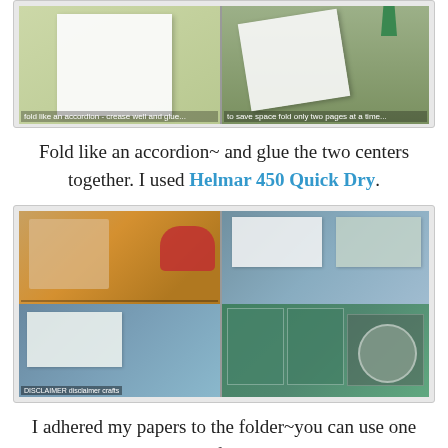[Figure (photo): Two-panel photo showing white paper folded accordion-style on a green background (left) and a white angled paper with green binder clip on green background (right)]
Fold like an accordion~ and glue the two centers together. I used Helmar 450 Quick Dry.
[Figure (photo): 2x2 grid of photos showing: floral patterned paper with red tape dispenser (top-left), teal/green grid paper scrapbook pages (top-right), teal dotted paper with decorative elements (bottom-left), green multi-pocket scrapbook spread with stamps and calendar (bottom-right)]
I adhered my papers to the folder~you can use one strip, all the same kind of paper or break it up like I did.  I used